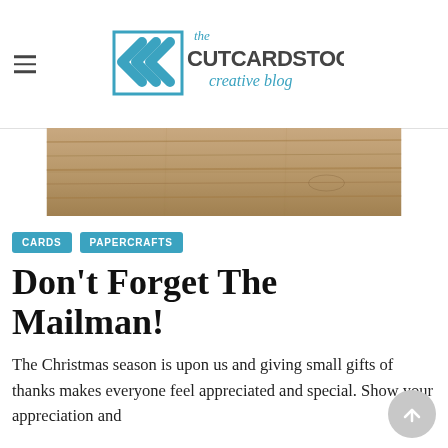[Figure (logo): The CutCardStock Creative Blog logo with double chevron arrows in blue and text]
[Figure (photo): Top portion of a wooden surface/deck photo]
CARDS
PAPERCRAFTS
Don't Forget The Mailman!
The Christmas season is upon us and giving small gifts of thanks makes everyone feel appreciated and special. Show your appreciation and